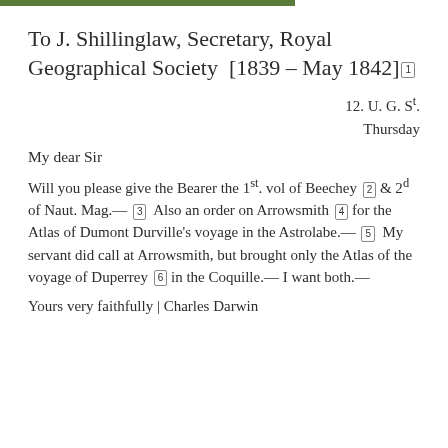To J. Shillinglaw, Secretary, Royal Geographical Society  [1839 – May 1842] 1
12. U. G. St.
Thursday
My dear Sir
Will you please give the Bearer the 1st. vol of Beechey 2  & 2d of Naut. Mag.— 3  Also an order on Arrowsmith 4  for the Atlas of Dumont Durville's voyage in the Astrolabe.— 5  My servant did call at Arrowsmith, but brought only the Atlas of the voyage of Duperrey 6  in the Coquille.— I want both.—
Yours very faithfully | Charles Darwin